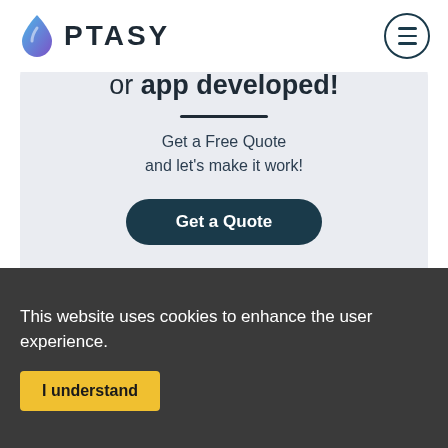[Figure (logo): Optasy logo with a blue/purple water drop icon and the word OPTASY in dark uppercase letters]
or app developed!
Get a Free Quote
and let's make it work!
Get a Quote
This website uses cookies to enhance the user experience.
I understand